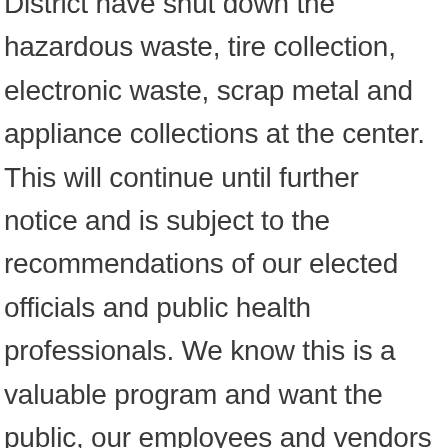District have shut down the hazardous waste, tire collection, electronic waste, scrap metal and appliance collections at the center. This will continue until further notice and is subject to the recommendations of our elected officials and public health professionals. We know this is a valuable program and want the public, our employees and vendors to be safe. Please visit Canton City Public Health for opening announcements as we work through this pandemic together.